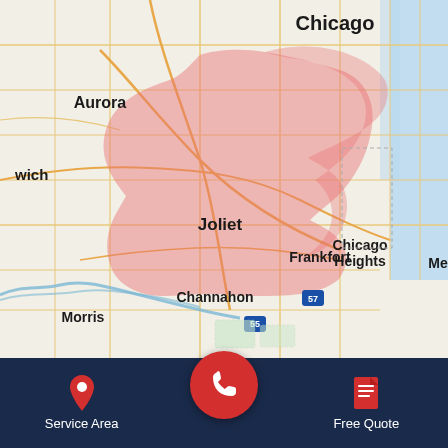[Figure (map): Street map of the Chicago southwest suburbs area including Chicago, Aurora, Joliet, Frankfort, Chicago Heights, Channahon, Morris. A red shaded service area region is shown centered around Joliet and extending northeast toward Chicago Heights.]
Service Area
Free Quote